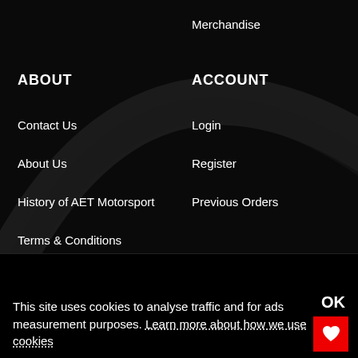Merchandise
ABOUT
ACCOUNT
Contact Us
Login
About Us
Register
History of AET Motorsport
Previous Orders
Terms & Conditions
International Orders Information
Delivery & Returns Center
Cookie Policy
Privacy Policy
This site uses cookies to analyse traffic and for ads measurement purposes. Learn more about how we use cookies